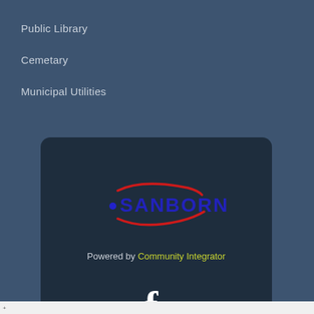Public Library
Cemetary
Municipal Utilities
[Figure (logo): Sanborn logo with red swoosh and blue text, dot before the name]
Powered by Community Integrator
[Figure (illustration): Facebook 'f' icon in white]